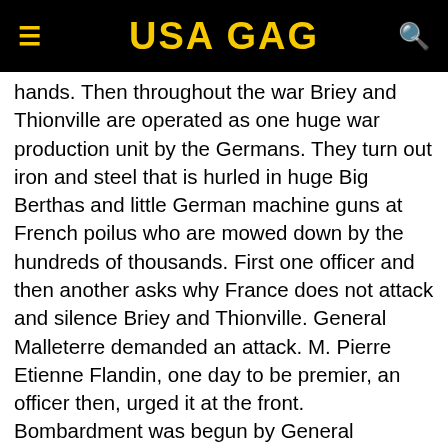USA GAG
hands. Then throughout the war Briey and Thionville are operated as one huge war production unit by the Germans. They turn out iron and steel that is hurled in huge Big Berthas and little German machine guns at French poilus who are mowed down by the hundreds of thousands. First one officer and then another asks why France does not attack and silence Briey and Thionville. General Malleterre demanded an attack. M. Pierre Etienne Flandin, one day to be premier, an officer then, urged it at the front. Bombardment was begun by General Guillaumat, but stopped instantly by headquarters. Deputies clamored for its destruction. A committee of the Senate urged it. Even the Cabinet asked why Briey and Thionville were not stopped. But nothing was done. They went ahead pumping out materials for